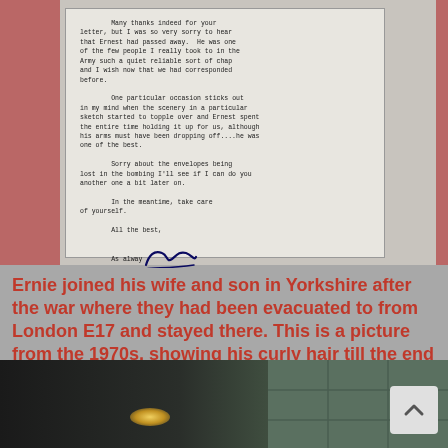[Figure (photo): Photograph of a typewritten letter. The letter text reads: 'Many thanks indeed for your letter, but I was so very sorry to hear that Ernest had passed away. He was one of the few people I really took to in the Army such a quiet reliable sort of chap and I wish now that we had corresponded before. One particular occasion sticks out in my mind when the scenery in a particular sketch started to topple over and Ernest spent the entire time holding it up for us, although his arms must have been dropping off....he was one of the best. Sorry about the envelopes being lost in the bombing I'll see if I can do you another one a bit later on. In the meantime, take care of yourself. All the best, As always [signature]']
Ernie joined his wife and son in Yorkshire after the war where they had been evacuated to from London E17 and stayed there. This is a picture from the 1970s, showing his curly hair till the end of his life:
[Figure (photo): Dark photograph from the 1970s showing a person with curly hair, partially visible. The image is mostly dark with a light reflection visible at the bottom left.]